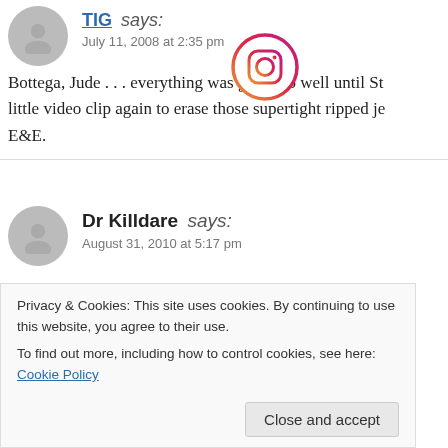TIG says: July 11, 2008 at 2:35 pm
[Figure (logo): Instagram logo icon, circular gradient border]
Bottega, Jude . . . everything was going so well until St... little video clip again to erase those supertight ripped je... E&E.
Dr Killdare says: August 31, 2010 at 5:17 pm
Today’s fashion is sad and hilarious at the same time. W... news programs this weekend I noticed that most of the... teenage/college slacker look that permeates most of the...
Privacy & Cookies: This site uses cookies. By continuing to use this website, you agree to their use.
To find out more, including how to control cookies, see here: Cookie Policy